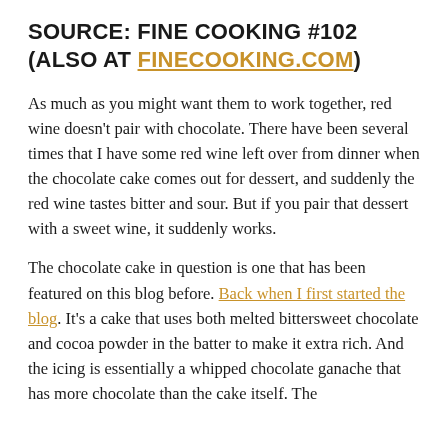SOURCE: FINE COOKING #102 (ALSO AT FINECOOKING.COM)
As much as you might want them to work together, red wine doesn't pair with chocolate. There have been several times that I have some red wine left over from dinner when the chocolate cake comes out for dessert, and suddenly the red wine tastes bitter and sour. But if you pair that dessert with a sweet wine, it suddenly works.
The chocolate cake in question is one that has been featured on this blog before. Back when I first started the blog. It's a cake that uses both melted bittersweet chocolate and cocoa powder in the batter to make it extra rich. And the icing is essentially a whipped chocolate ganache that has more chocolate than the cake itself. The